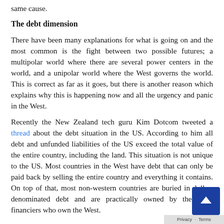same cause.
The debt dimension
There have been many explanations for what is going on and the most common is the fight between two possible futures; a multipolar world where there are several power centers in the world, and a unipolar world where the West governs the world. This is correct as far as it goes, but there is another reason which explains why this is happening now and all the urgency and panic in the West.
Recently the New Zealand tech guru Kim Dotcom tweeted a thread about the debt situation in the US. According to him all debt and unfunded liabilities of the US exceed the total value of the entire country, including the land. This situation is not unique to the US. Most countries in the West have debt that can only be paid back by selling the entire country and everything it contains. On top of that, most non-western countries are buried in dollar-denominated debt and are practically owned by the same financiers who own the West.